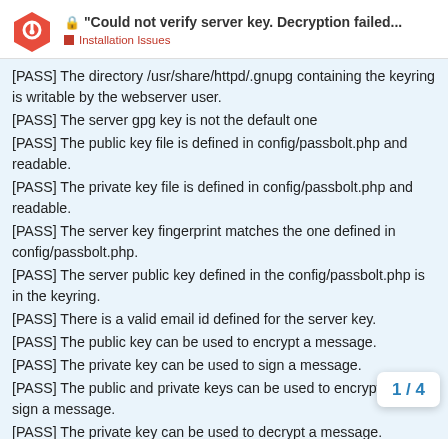"Could not verify server key. Decryption failed... — Installation Issues
[PASS] The directory /usr/share/httpd/.gnupg containing the keyring is writable by the webserver user.
[PASS] The server gpg key is not the default one
[PASS] The public key file is defined in config/passbolt.php and readable.
[PASS] The private key file is defined in config/passbolt.php and readable.
[PASS] The server key fingerprint matches the one defined in config/passbolt.php.
[PASS] The server public key defined in the config/passbolt.php is in the keyring.
[PASS] There is a valid email id defined for the server key.
[PASS] The public key can be used to encrypt a message.
[PASS] The private key can be used to sign a message.
[PASS] The public and private keys can be used to encrypt and sign a message.
[PASS] The private key can be used to decrypt a message.
[PASS] The private key can be used to dec message.
1 / 4